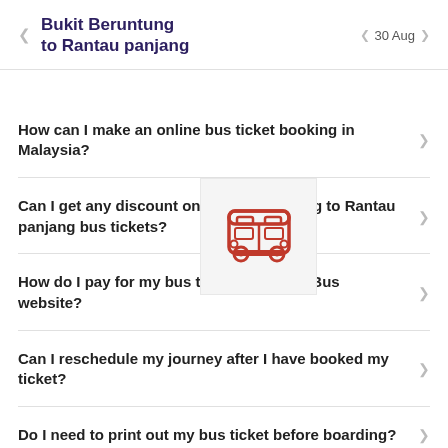Bukit Beruntung to Rantau panjang  ❮  30 Aug  ❯
How can I make an online bus ticket booking in Malaysia?
Can I get any discount on Bukit Beruntung to Rantau panjang bus tickets?
[Figure (illustration): Red bus icon on a light grey square background, overlapping the FAQ list]
How do I pay for my bus ticket on the redBus website?
Can I reschedule my journey after I have booked my ticket?
Do I need to print out my bus ticket before boarding?